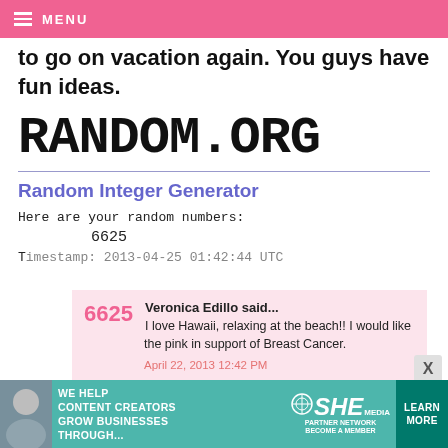MENU
to go on vacation again. You guys have fun ideas.
[Figure (logo): RANDOM.ORG logo in bold monospace font]
Random Integer Generator
Here are your random numbers:
6625
Timestamp: 2013-04-25 01:42:44 UTC
6625 Veronica Edillo said... I love Hawaii, relaxing at the beach!! I would like the pink in support of Breast Cancer. April 22, 2013 12:42 PM
[Figure (screenshot): SHE Partner Network advertisement banner - We Help Content Creators Grow Businesses Through... Learn More]